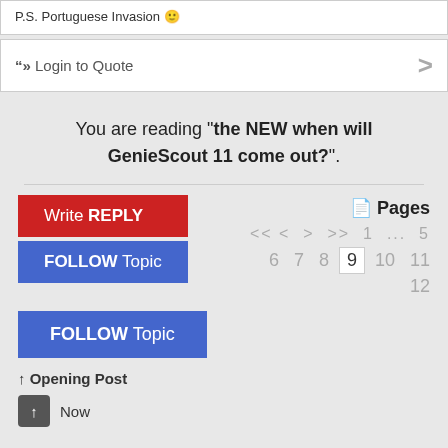P.S. Portuguese Invasion 🙂
"» Login to Quote  >
You are reading "the NEW when will GenieScout 11 come out?".
Write REPLY
FOLLOW Topic
📄 Pages
<< < > >> 1 ... 5
6 7 8 9 10 11
12
FOLLOW Topic
↑ Opening Post
↑ Now